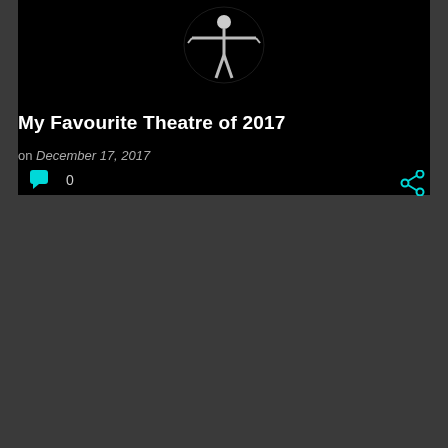[Figure (photo): Dark background photo of a dancer or performer figure with arms outstretched, silhouetted against black background]
My Favourite Theatre of 2017
on December 17, 2017
0